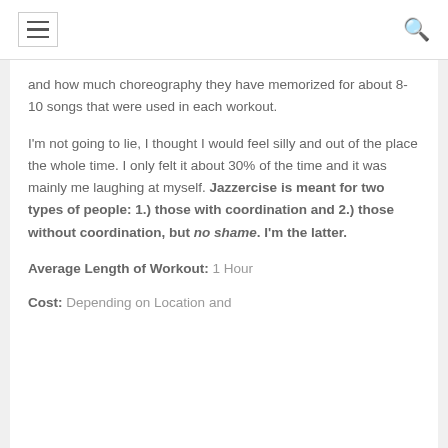[hamburger menu] [search icon]
and how much choreography they have memorized for about 8-10 songs that were used in each workout.
I'm not going to lie, I thought I would feel silly and out of the place the whole time. I only felt it about 30% of the time and it was mainly me laughing at myself. Jazzercise is meant for two types of people: 1.) those with coordination and 2.) those without coordination, but no shame. I'm the latter.
Average Length of Workout: 1 Hour
Cost: Depending on Location and